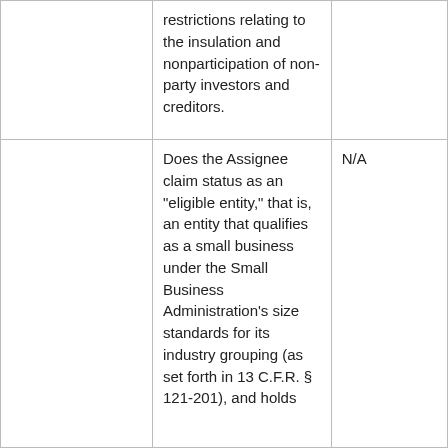|  | restrictions relating to the insulation and nonparticipation of non-party investors and creditors. |  |
|  | Does the Assignee claim status as an "eligible entity," that is, an entity that qualifies as a small business under the Small Business Administration's size standards for its industry grouping (as set forth in 13 C.F.R. § 121-201), and holds | N/A |